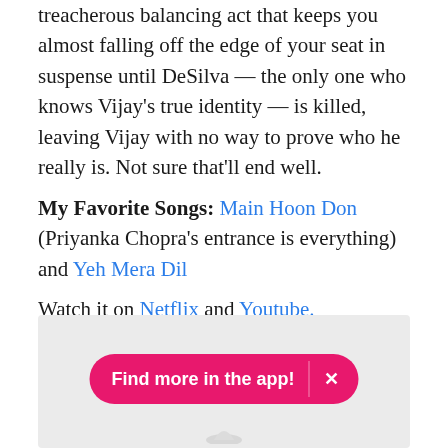treacherous balancing act that keeps you almost falling off the edge of your seat in suspense until DeSilva — the only one who knows Vijay's true identity — is killed, leaving Vijay with no way to prove who he really is. Not sure that'll end well.
My Favorite Songs: Main Hoon Don (Priyanka Chopra's entrance is everything) and Yeh Mera Dil
Watch it on Netflix and Youtube.
18. Holiday: A Soldier Is Never Off Duty (2014)
[Figure (screenshot): Grey placeholder image area with a pink/magenta 'Find more in the app!' banner button with an X close button, and a partial bird icon at the bottom center]